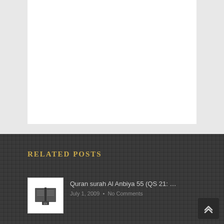[Figure (other): White content area box on light gray background (top portion of page)]
RELATED POSTS
[Figure (logo): Quran book icon thumbnail image for related post]
Quran surah Al Anbiya 55 (QS 21: …
July 1, 2009 · No Comments